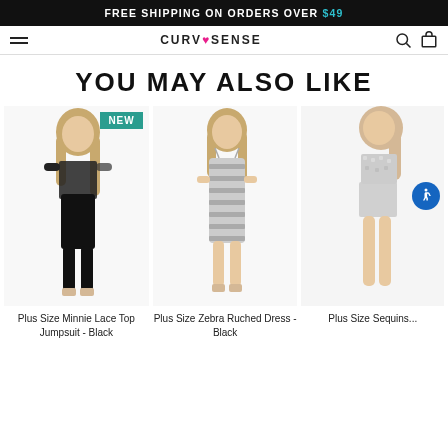FREE SHIPPING ON ORDERS OVER $49
[Figure (screenshot): Navigation bar with hamburger menu, Curvy Sense logo, search and cart icons]
YOU MAY ALSO LIKE
[Figure (photo): Plus size model wearing black lace top jumpsuit with NEW badge]
Plus Size Minnie Lace Top Jumpsuit - Black
[Figure (photo): Plus size model wearing zebra ruched dress in black]
Plus Size Zebra Ruched Dress - Black
[Figure (photo): Plus size model wearing sequins outfit, partially cropped]
Plus Size Sequins...